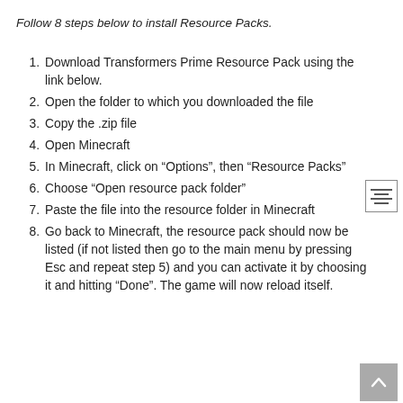Follow 8 steps below to install Resource Packs.
1. Download Transformers Prime Resource Pack using the link below.
2. Open the folder to which you downloaded the file
3. Copy the .zip file
4. Open Minecraft
5. In Minecraft, click on “Options”, then “Resource Packs”
6. Choose “Open resource pack folder”
7. Paste the file into the resource folder in Minecraft
8. Go back to Minecraft, the resource pack should now be listed (if not listed then go to the main menu by pressing Esc and repeat step 5) and you can activate it by choosing it and hitting “Done”. The game will now reload itself.